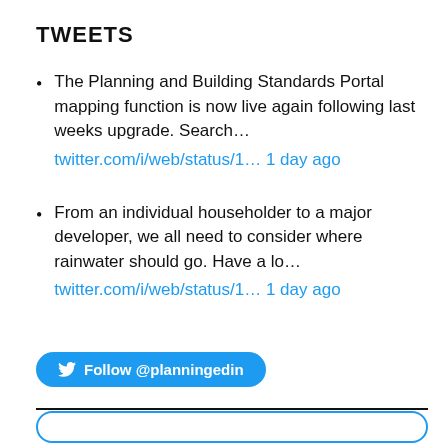TWEETS
The Planning and Building Standards Portal mapping function is now live again following last weeks upgrade. Search... twitter.com/i/web/status/1... 1 day ago
From an individual householder to a major developer, we all need to consider where rainwater should go. Have a lo... twitter.com/i/web/status/1... 1 day ago
[Figure (other): Follow @planningedin Twitter button — a rounded blue button with Twitter bird icon and text 'Follow @planningedin']